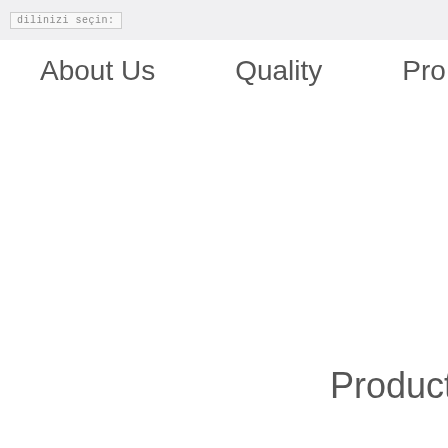dilinizi seçin:
About Us   Quality   Pro
Products